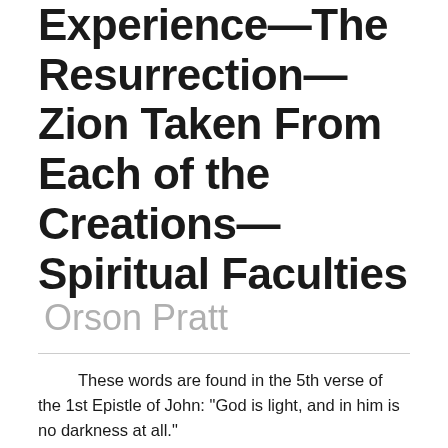Experience—The Resurrection—Zion Taken From Each of the Creations—Spiritual Faculties Orson Pratt
These words are found in the 5th verse of the 1st Epistle of John: "God is light, and in him is no darkness at all."
Inasmuch as God is represented to be a being full of truth, full of knowledge and intelligence, having almighty power, we would naturally suppose that he was also a God of light, that is full of the principle of light; and that there is nothing too deep for him to understand, or too great for his understanding to comprehend or reach. He being full of light, there can be no darkness in him. Indeed, he is spoken of by James as the "Father of lights." In other words, his offspring, his children, his sons and daughters, partake of a portion of that light which dwells in the Father; the